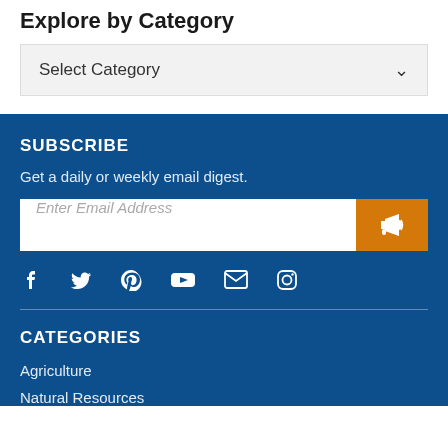Explore by Category
Select Category
SUBSCRIBE
Get a daily or weekly email digest.
Enter Email Address
CATEGORIES
Agriculture
Natural Resources